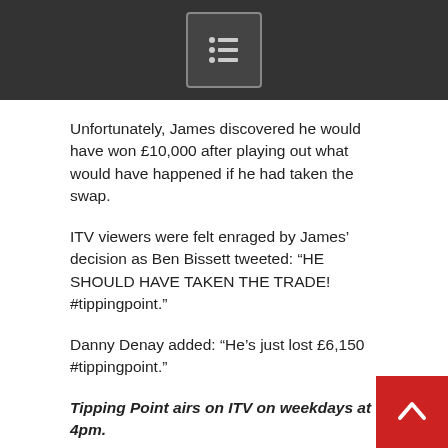menu icon
Unfortunately, James discovered he would have won £10,000 after playing out what would have happened if he had taken the swap.
ITV viewers were felt enraged by James' decision as Ben Bissett tweeted: "HE SHOULD HAVE TAKEN THE TRADE! #tippingpoint."
Danny Denay added: "He's just lost £6,150 #tippingpoint."
Tipping Point airs on ITV on weekdays at 4pm.
"If there were a few more there I would probably go for it but especially with how that last round has gone and the three counters there it would ruin the day if I decided to go for it and it didn't work out."